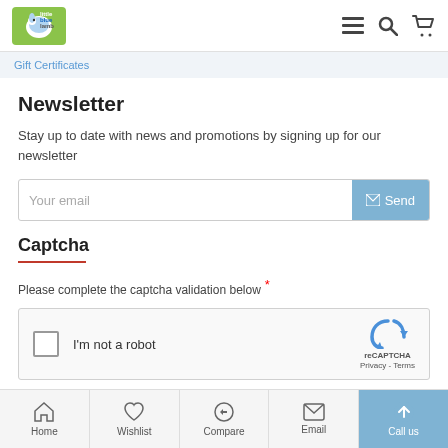little blue lamb — header with menu, search, cart icons
Gift Certificates
Newsletter
Stay up to date with news and promotions by signing up for our newsletter
Your email [Send]
Captcha
Please complete the captcha validation below *
[Figure (screenshot): reCAPTCHA widget with checkbox 'I'm not a robot' and reCAPTCHA Privacy - Terms logo]
Home | Wishlist | Compare | Email | Call us